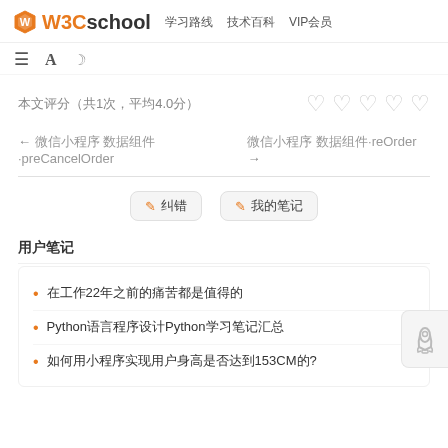W3Cschool 学习路线 技术百科 VIP会员
篮球图标（导航图标、字体大小、夜间模式切换）
本文评分 ♡♡♡♡♡
← 微信小程序 数据组件·preCancelOrder    微信小程序 数据组件·reOrder →
✎纠错  ✎笔记
用户笔记
在工作22年之前的痛苦都是值得的
Python语言程序设计Python学习笔记汇总
如何用小程序实现用户身高是否达到153CM的?